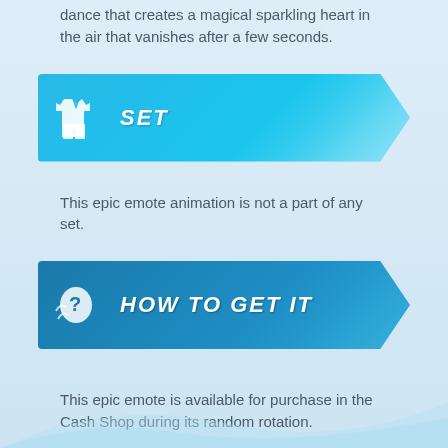dance that creates a magical sparkling heart in the air that vanishes after a few seconds.
[Figure (infographic): Blue banner with shirt and pants icon and the word SET in white bold italic text]
This epic emote animation is not a part of any set.
[Figure (infographic): Dark blue banner with question mark icon and the text HOW TO GET IT in white bold italic letters]
This epic emote is available for purchase in the Cash Shop during its random rotation.